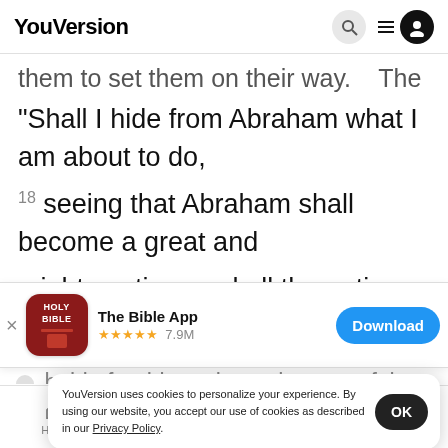YouVersion
them to set them on their way. The LORD said,
“Shall I hide from Abraham what I am about to do, 18 seeing that Abraham shall become a great and mighty nation, and all the nations of the earth shall be blessed in him? 19 No, for I have chosen
[Figure (screenshot): App download banner for The Bible App with Holy Bible icon, 5-star rating, 7.9M reviews, and Download button]
hold after him to keep the way of the L
doing ri
may bri
YouVersion uses cookies to personalize your experience. By using our website, you accept our use of cookies as described in our Privacy Policy.
Home  Bible  Plans  Videos